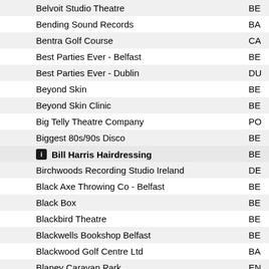| Name | Code |
| --- | --- |
| Belvoit Studio Theatre | BE |
| Bending Sound Records | BA |
| Bentra Golf Course | CA |
| Best Parties Ever - Belfast | BE |
| Best Parties Ever - Dublin | DU |
| Beyond Skin | BE |
| Beyond Skin Clinic | BE |
| Big Telly Theatre Company | PO |
| Biggest 80s/90s Disco | BE |
| Bill Harris Hairdressing | BE |
| Birchwoods Recording Studio Ireland | DE |
| Black Axe Throwing Co - Belfast | BE |
| Black Box | BE |
| Blackbird Theatre | BE |
| Blackwells Bookshop Belfast | BE |
| Blackwood Golf Centre Ltd | BA |
| Blaney Caravan Park | EN |
| Blazing Balloons by Heather | NE |
| BLK BOX Fitness |  |